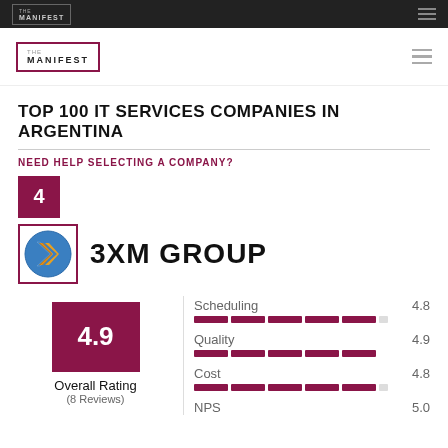THE MANIFEST
TOP 100 IT SERVICES COMPANIES IN ARGENTINA
NEED HELP SELECTING A COMPANY?
4
[Figure (logo): 3XM Group logo — blue circle with orange X]
3XM GROUP
4.9 Overall Rating (8 Reviews)
| Category | Score |
| --- | --- |
| Scheduling | 4.8 |
| Quality | 4.9 |
| Cost | 4.8 |
| NPS | 5.0 |